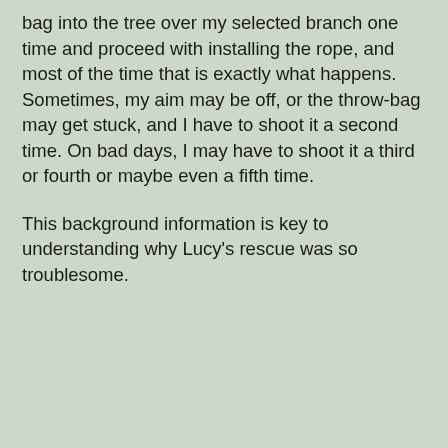bag into the tree over my selected branch one time and proceed with installing the rope, and most of the time that is exactly what happens.  Sometimes, my aim may be off, or the throw-bag may get stuck, and I have to shoot it a second time.  On bad days, I may have to shoot it a third or fourth or maybe even a fifth time.
This background information is key to understanding why Lucy's rescue was so troublesome.